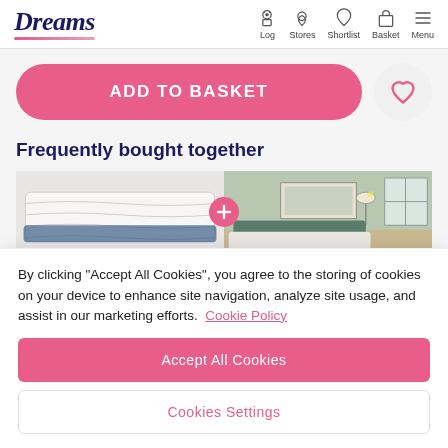Dreams | Log | Stores | Shortlist | Basket | Menu
ADD TO BASKET
Frequently bought together
[Figure (photo): Two product images side by side: left shows a white quilted mattress, right shows a bedroom interior with green walls]
By clicking "Accept All Cookies", you agree to the storing of cookies on your device to enhance site navigation, analyze site usage, and assist in our marketing efforts.  Cookie Policy
Accept All Cookies
Cookies Settings